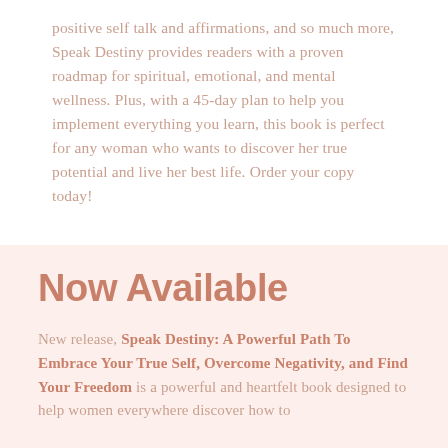positive self talk and affirmations, and so much more, Speak Destiny provides readers with a proven roadmap for spiritual, emotional, and mental wellness. Plus, with a 45-day plan to help you implement everything you learn, this book is perfect for any woman who wants to discover her true potential and live her best life. Order your copy today!
Now Available
New release, Speak Destiny: A Powerful Path To Embrace Your True Self, Overcome Negativity, and Find Your Freedom is a powerful and heartfelt book designed to help women everywhere discover how to